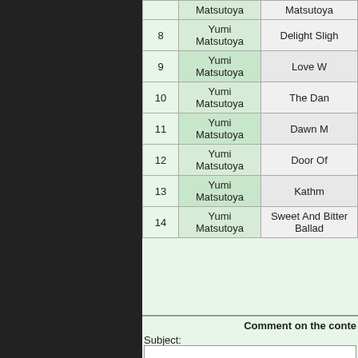| # | Artist | Title |
| --- | --- | --- |
|  | Matsutoya | Matsutoya |
| 8 | Yumi Matsutoya | Delight Sligh |
| 9 | Yumi Matsutoya | Love W |
| 10 | Yumi Matsutoya | The Dan |
| 11 | Yumi Matsutoya | Dawn M |
| 12 | Yumi Matsutoya | Door Of |
| 13 | Yumi Matsutoya | Kathm |
| 14 | Yumi Matsutoya | Sweet And Bitter Ballad |
Comment on the conte
Subject: